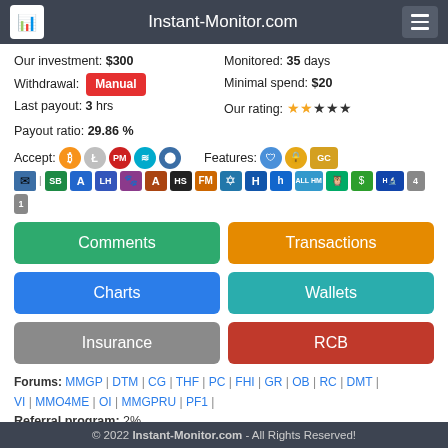Instant-Monitor.com
Our investment: $300
Monitored: 35 days
Withdrawal: Manual
Minimal spend: $20
Last payout: 3 hrs
Our rating: 2 gold stars, 3 dark stars
Payout ratio: 29.86 %
[Figure (infographic): Accept icons: Bitcoin, Litecoin, PM, Advcash, Share. Features icons: shield, lock, GC.]
[Figure (infographic): Monitoring service icons row: email, SB, A, LH, FP, AL, HS, FM, Star, H, h, ALL HM, TripAdvisor, Cash, HBits, 4, 1]
Comments | Transactions | Charts | Wallets | Insurance | RCB
Forums: MMGP | DTM | CG | THF | PC | FHI | GR | OB | RC | DMT | VI | MMO4ME | OI | MMGPRU | PF1 |
Referral program: 2%
© 2022 Instant-Monitor.com - All Rights Reserved!